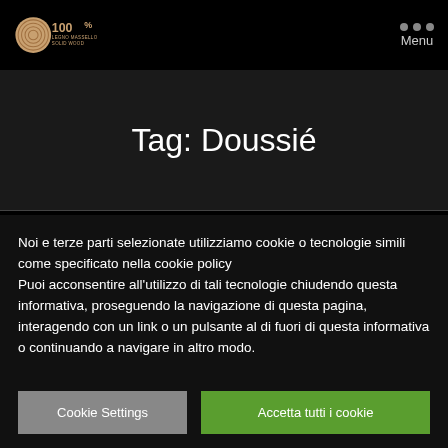[Figure (logo): 100% Legno Massello / Solid Wood logo with wood grain circular icon]
Menu
Tag: Doussié
Noi e terze parti selezionate utilizziamo cookie o tecnologie simili come specificato nella cookie policy
Puoi acconsentire all'utilizzo di tali tecnologie chiudendo questa informativa, proseguendo la navigazione di questa pagina, interagendo con un link o un pulsante al di fuori di questa informativa o continuando a navigare in altro modo.
Cookie Settings
Accetta tutti i cookie